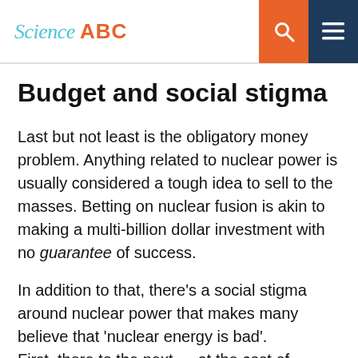Science ABC
Budget and social stigma
Last but not least is the obligatory money problem. Anything related to nuclear power is usually considered a tough idea to sell to the masses. Betting on nuclear fusion is akin to making a multi-billion dollar investment with no guarantee of success.
In addition to that, there's a social stigma around nuclear power that makes many believe that 'nuclear energy is bad'. First, there to the next — at the cost of civilization. This